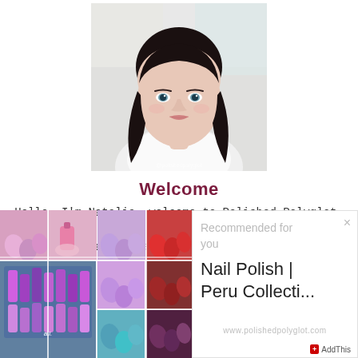[Figure (photo): Portrait photo of a woman with dark hair, blue/green eyes, light skin, wearing a white top, slight smile, background is light/blur]
Welcome
Hello, I'm Natalia, welcome to Polished Polyglot, a Swiss Blog about Nails and Makeup More about me
[Figure (photo): Collage of nail polish photos showing various nail colors including pink, purple, red, teal, and dark/wine shades, as well as nail polish bottles]
Recommended for you
Nail Polish | Peru Collecti...
www.polishedpolyglot.com
AddThis